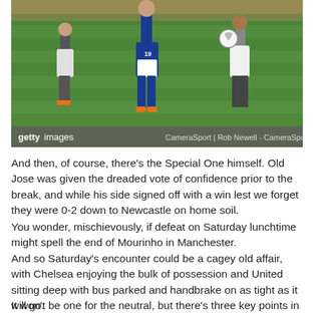[Figure (photo): Football match action photo showing players in a challenge for the ball on a green pitch. One player in blue Chelsea kit (number 19), players in white/grey kits on either side. Getty Images watermark and CameraSport | Rob Newell - CameraSport credit visible.]
And then, of course, there's the Special One himself. Old Jose was given the dreaded vote of confidence prior to the break, and while his side signed off with a win lest we forget they were 0-2 down to Newcastle on home soil.
You wonder, mischievously, if defeat on Saturday lunchtime might spell the end of Mourinho in Manchester.
And so Saturday's encounter could be a cagey old affair, with Chelsea enjoying the bulk of possession and United sitting deep with bus parked and handbrake on as tight as it will go.
It won't be one for the neutral, but there's three key points in the offing for Chelsea.
Chelsea Team N...